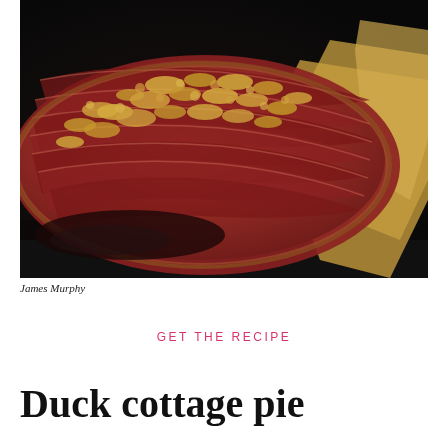[Figure (photo): A baked tart or pie with thinly sliced root vegetables (beetroot/beet) arranged in overlapping fan pattern, topped with golden breadcrumb crumble, on crinkled baking parchment, photographed on dark background]
James Murphy
GET THE RECIPE
Duck cottage pie